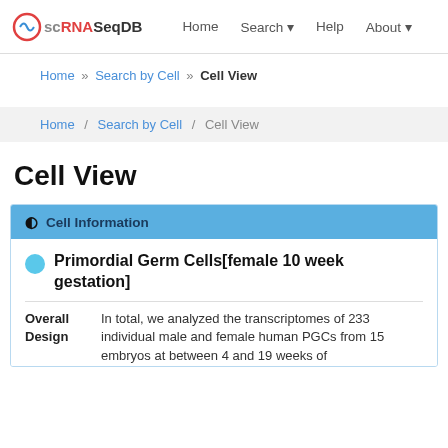scRNASeqDB  Home  Search  Help  About
Home » Search by Cell » Cell View
Home / Search by Cell / Cell View
Cell View
Cell Information
Primordial Germ Cells[female 10 week gestation]
| Overall Design |  |
| --- | --- |
| Overall Design | In total, we analyzed the transcriptomes of 233 individual male and female human PGCs from 15 embryos at between 4 and 19 weeks of |